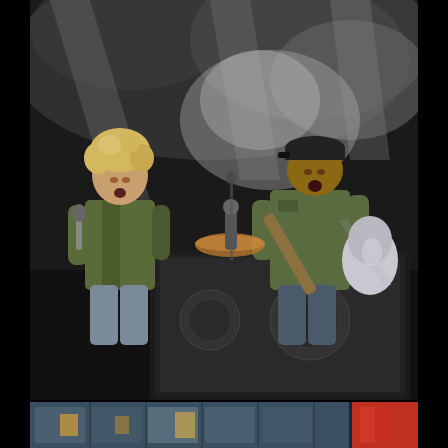[Figure (photo): Concert photograph showing two performers on stage. On the left is a man with curly blonde hair wearing a green vest, singing into a microphone. On the right is a man wearing a black cap and olive military-style shirt, playing an electric guitar. Large black speaker monitors are visible in the foreground. The stage background shows dramatic smoky lighting effects in grey and white tones.]
[Figure (photo): Partial view of a building exterior at night showing illuminated windows and a red accent, appearing to be a hotel or office building facade with a blue-grey glass curtain wall.]